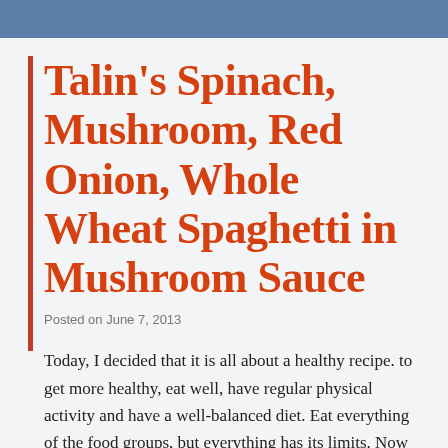Talin’s Spinach, Mushroom, Red Onion, Whole Wheat Spaghetti in Mushroom Sauce
Posted on June 7, 2013
Today, I decided that it is all about a healthy recipe. to get more healthy, eat well, have regular physical activity and have a well-balanced diet. Eat everything of the food groups, but everything has its limits. Now today, I’d